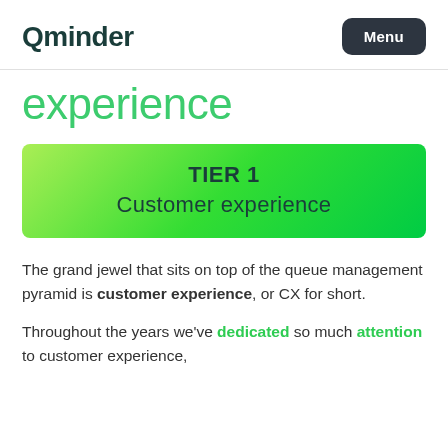Qminder | Menu
experience
TIER 1
Customer experience
The grand jewel that sits on top of the queue management pyramid is customer experience, or CX for short.
Throughout the years we've dedicated so much attention to customer experience,